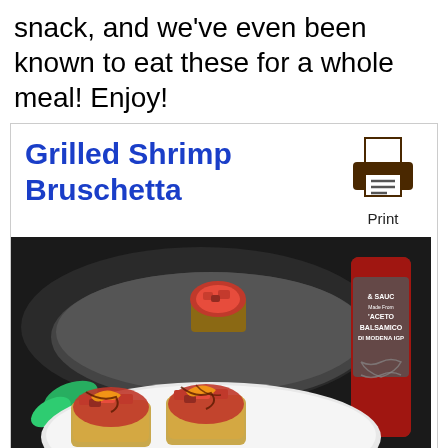snack, and we've even been known to eat these for a whole meal! Enjoy!
Grilled Shrimp Bruschetta
[Figure (photo): Photo of Grilled Shrimp Bruschetta on a white plate with tomato topping and balsamic drizzle, dark background, a balsamic vinegar bottle visible on the right side]
Print